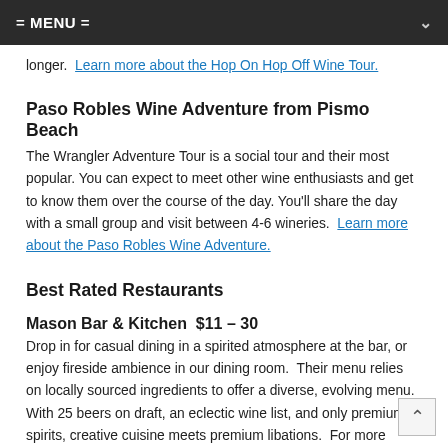= MENU =
longer.  Learn more about the Hop On Hop Off Wine Tour.
Paso Robles Wine Adventure from Pismo Beach
The Wrangler Adventure Tour is a social tour and their most popular. You can expect to meet other wine enthusiasts and get to know them over the course of the day. You'll share the day with a small group and visit between 4-6 wineries.  Learn more about the Paso Robles Wine Adventure.
Best Rated Restaurants
Mason Bar & Kitchen  $11 – 30
Drop in for casual dining in a spirited atmosphere at the bar, or enjoy fireside ambience in our dining room.  Their menu relies on locally sourced ingredients to offer a diverse, evolving menu.  With 25 beers on draft, an eclectic wine list, and only premium spirits, creative cuisine meets premium libations.  For more